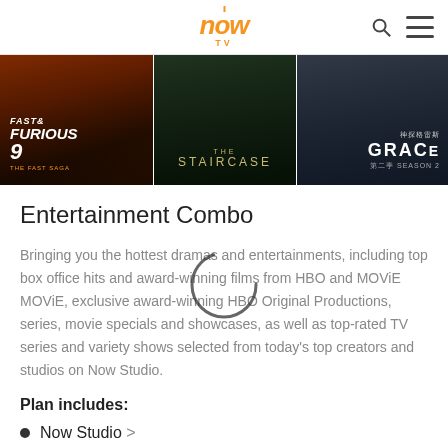now tv
[Figure (screenshot): Banner strip showing three movie/show panels: Fast & Furious 9, The Staircase, and Grace Season 2]
Entertainment Combo
Bringing you the hottest dramas and entertainments, including top box office hits and award-winning films from HBO and MOViE MOViE, exclusive award-winning HBO Original Productions, series, movie specials and showcases, as well as top-rated TV series and variety shows selected from today's top creators and studios on Now Studio.
Plan includes:
Now Studio >